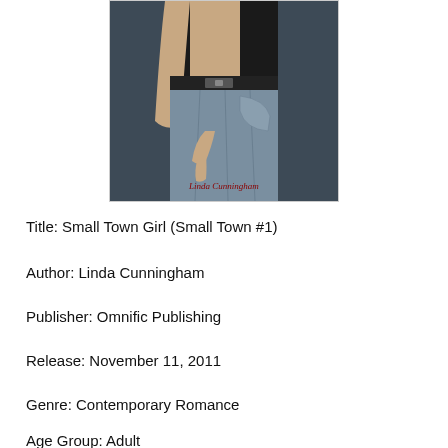[Figure (photo): Book cover showing a muscular man's torso wearing a black shirt and jeans with a black leather belt, with signature 'Linda Cunningham' in red script at the bottom]
Title: Small Town Girl (Small Town #1)
Author: Linda Cunningham
Publisher: Omnific Publishing
Release: November 11, 2011
Genre: Contemporary Romance
Age Group: Adult